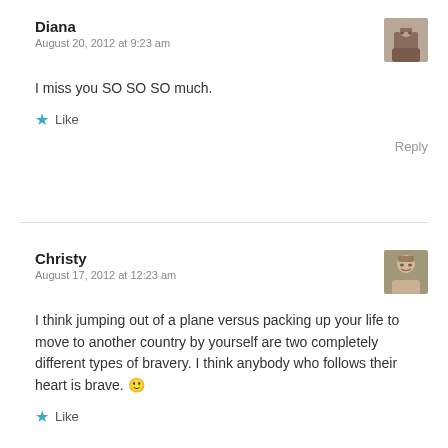Diana
August 20, 2012 at 9:23 am
[Figure (photo): Avatar photo of Diana]
I miss you SO SO SO much.
★ Like
Reply
Christy
August 17, 2012 at 12:23 am
[Figure (photo): Avatar photo of Christy]
I think jumping out of a plane versus packing up your life to move to another country by yourself are two completely different types of bravery. I think anybody who follows their heart is brave. 🙂
★ Like